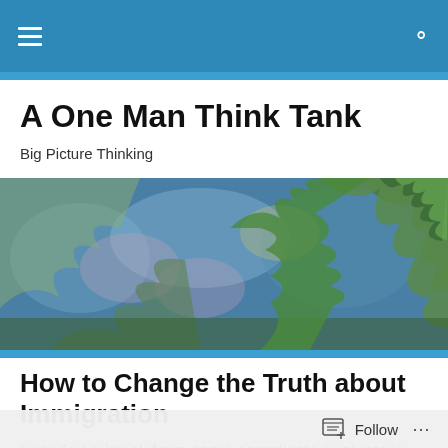Navigation bar with hamburger menu and search icon
A One Man Think Tank
Big Picture Thinking
[Figure (photo): Wide banner photograph of lush green fern leaves and foliage with blue bokeh background, nature scene]
How to Change the Truth about Immigration
I needed a break from some complicated volunteer
Follow  ...